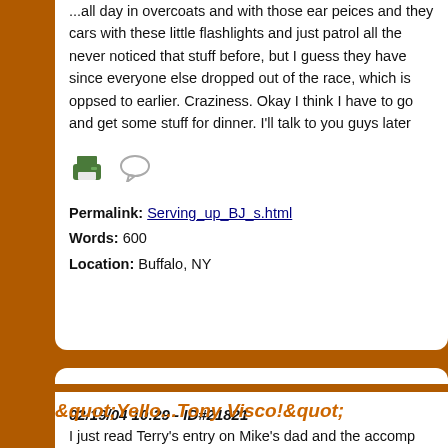...all day in overcoats and with those ear peices and they cars with these little flashlights and just patrol all the never noticed that stuff before, but I guess they have since everyone else dropped out of the race, which is oppsed to earlier. Craziness. Okay I think I have to go and get some stuff for dinner. I'll talk to you guys later
[Figure (illustration): Print icon (green printer) and comment icon (speech bubble outline)]
Permalink: Serving_up_BJ_s.html
Words: 600
Location: Buffalo, NY
02/19/04 10:29 - ID#21821
&quot;Yello...Tony Visco!&quot;
I just read Terry's entry on Mike's dad and the accomp machine message and I laughed so hard for like 10 mi